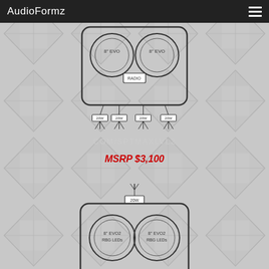AudioFormz
[Figure (engineering-diagram): Speaker enclosure diagram showing two 8" EVO speakers, a RADIO unit in the middle, and four 20W amplifier ports at the bottom with connection lines]
COM/SPTMAXLVL2
MSRP $3,100
[Figure (engineering-diagram): Speaker enclosure diagram showing two 8" EVO2 RBG LEDs speakers, one 20W amplifier port at top, and partial view of additional speakers at bottom]